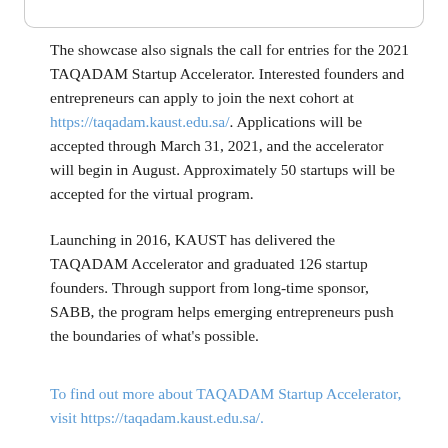The showcase also signals the call for entries for the 2021 TAQADAM Startup Accelerator. Interested founders and entrepreneurs can apply to join the next cohort at https://taqadam.kaust.edu.sa/. Applications will be accepted through March 31, 2021, and the accelerator will begin in August. Approximately 50 startups will be accepted for the virtual program.
Launching in 2016, KAUST has delivered the TAQADAM Accelerator and graduated 126 startup founders. Through support from long-time sponsor, SABB, the program helps emerging entrepreneurs push the boundaries of what's possible.
To find out more about TAQADAM Startup Accelerator, visit https://taqadam.kaust.edu.sa/.